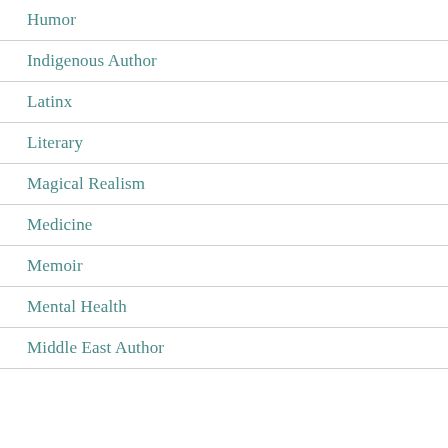Humor
Indigenous Author
Latinx
Literary
Magical Realism
Medicine
Memoir
Mental Health
Middle East Author